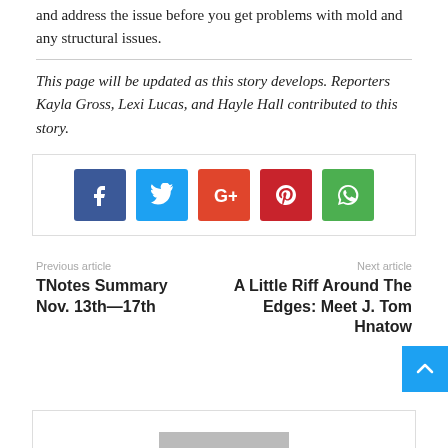and address the issue before you get problems with mold and any structural issues.
This page will be updated as this story develops. Reporters Kayla Gross, Lexi Lucas, and Hayle Hall contributed to this story.
[Figure (infographic): Social sharing buttons for Facebook (blue), Twitter (cyan), Google+ (orange-red), Pinterest (red), and WhatsApp (green)]
Previous article
Next article
TNotes Summary Nov. 13th—17th
A Little Riff Around The Edges: Meet J. Tom Hnatow